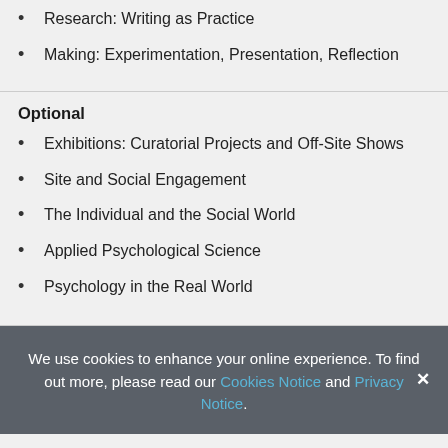Research: Writing as Practice
Making: Experimentation, Presentation, Reflection
Optional
Exhibitions: Curatorial Projects and Off-Site Shows
Site and Social Engagement
The Individual and the Social World
Applied Psychological Science
Psychology in the Real World
We use cookies to enhance your online experience. To find out more, please read our Cookies Notice and Privacy Notice.